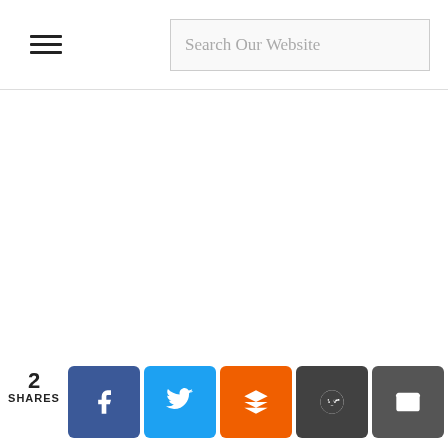Search Our Website
2 SHARES
[Figure (infographic): Social sharing bar with Facebook, Twitter, Mix, Reddit, and Email buttons]